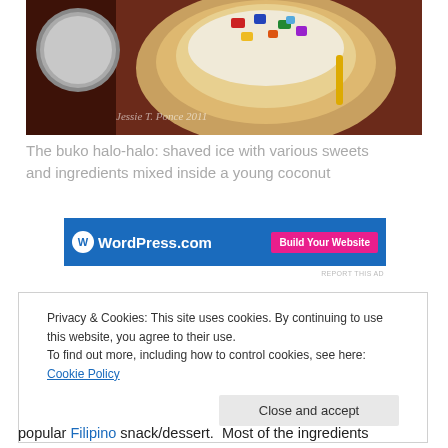[Figure (photo): Overhead photo of buko halo-halo: a young coconut filled with shaved ice and colorful sweets/jellies, with a metal bowl visible to the left. Dark reddish-brown table surface. Watermark 'Jessie T. Ponce 2011' in lower-left corner of image.]
The buko halo-halo: shaved ice with various sweets and ingredients mixed inside a young coconut
[Figure (screenshot): WordPress.com advertisement banner with blue background, WordPress W logo, text 'WordPress.com', and pink 'Build Your Website' button on the right.]
REPORT THIS AD
Privacy & Cookies: This site uses cookies. By continuing to use this website, you agree to their use.
To find out more, including how to control cookies, see here: Cookie Policy
Close and accept
popular Filipino snack/dessert.  Most of the ingredients